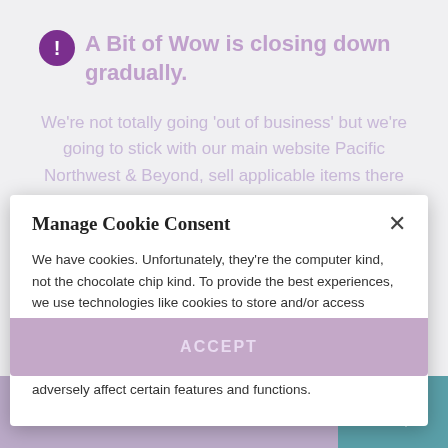⚠ A Bit of Wow is closing down gradually.
We're not totally going 'out of business' but we're going to stick with our main website Pacific Northwest & Beyond, sell applicable items there and continue with our Etsy and Amazon shops. If there's something you see that you want here, you can still browse/purchase it on Etsy which should have all the applicable items too…soon.
Manage Cookie Consent
We have cookies. Unfortunately, they're the computer kind, not the chocolate chip kind. To provide the best experiences, we use technologies like cookies to store and/or access device information. Consenting to these technologies will allow us to process data such as browsing behavior or unique IDs on this site. Not consenting or withdrawing consent, may adversely affect certain features and functions.
ACCEPT
SEARCH ...